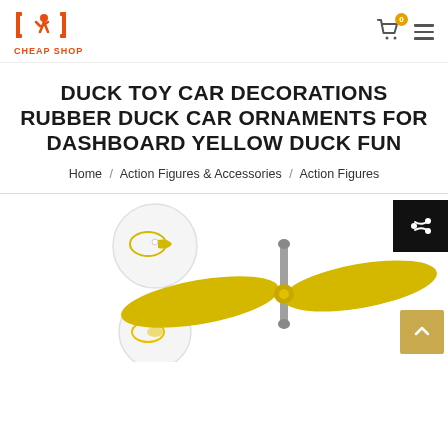CHEAP SHOP
DUCK TOY CAR DECORATIONS RUBBER DUCK CAR ORNAMENTS FOR DASHBOARD YELLOW DUCK FUN
Home / Action Figures & Accessories / Action Figures
[Figure (photo): Product photo showing yellow rubber duck car accessories/ornaments with suction cups and a propeller-style attachment on a white background]